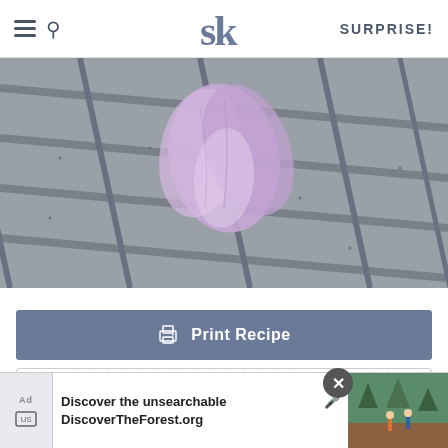SK — SURPRISE!
[Figure (photo): Close-up photo of a light purple/pink flower petal lying on grey slate roof shingles]
Print Recipe
Email Recipe
Save to Pinterest
[Figure (screenshot): Advertisement banner: 'Discover the unsearchable' with DiscoverTheForest.org URL and forest hiking image]